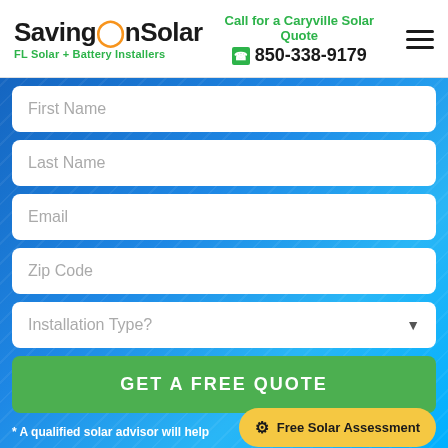SavingOnSolar — FL Solar + Battery Installers | Call for a Caryville Solar Quote | 850-338-9179
[Figure (screenshot): Web form with fields: First Name, Last Name, Email, Zip Code, Installation Type dropdown, GET A FREE QUOTE button, and Free Solar Assessment floating button]
First Name
Last Name
Email
Zip Code
Installation Type?
GET A FREE QUOTE
* A qualified solar advisor will help
Free Solar Assessment